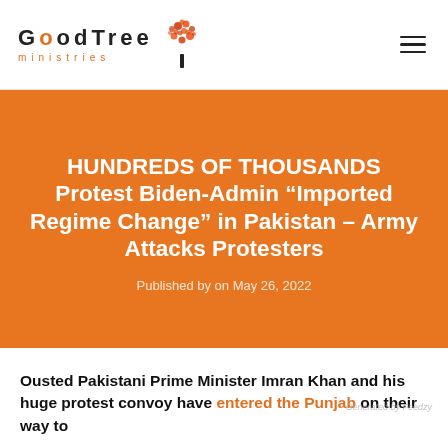GoodTree ministries
HUNDREDS OF THOUSANDS Protest Biden-Admin “Imported Regime Change” in Pakistan – Army Attacks Protesters
Published by on May 26, 2022
Ousted Pakistani Prime Minister Imran Khan and his huge protest convoy have entered the Punjab on their way to